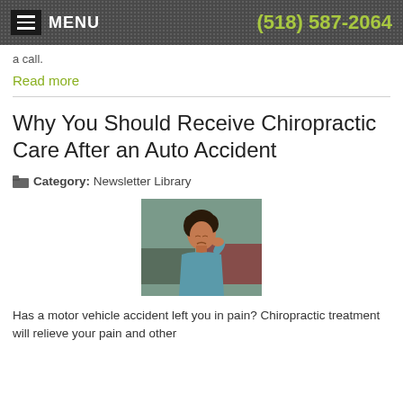MENU  (518) 587-2064
a call.
Read more
Why You Should Receive Chiropractic Care After an Auto Accident
Category: Newsletter Library
[Figure (photo): Woman holding her neck in pain after an auto accident, standing near vehicles outdoors]
Has a motor vehicle accident left you in pain? Chiropractic treatment will relieve your pain and other